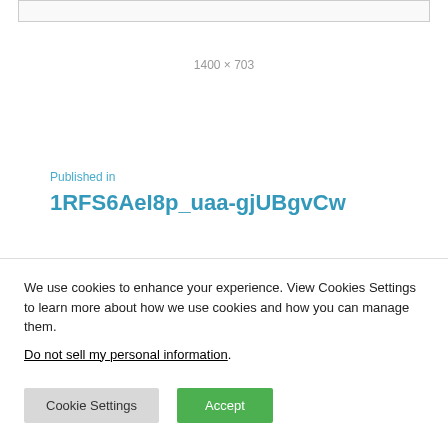[Figure (screenshot): Partial screenshot stub at top of page]
1400 × 703
Published in
1RFS6AeI8p_uaa-gjUBgvCw
We use cookies to enhance your experience. View Cookies Settings to learn more about how we use cookies and how you can manage them.
Do not sell my personal information.
Cookie Settings
Accept